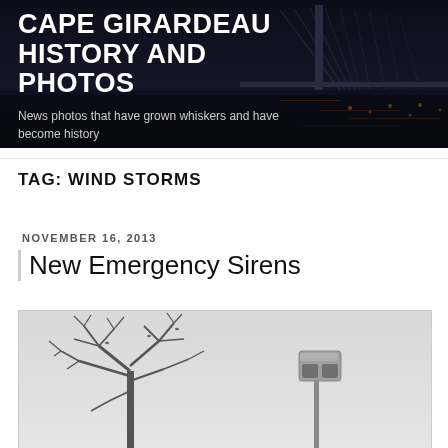CAPE GIRARDEAU HISTORY AND PHOTOS
News photos that have grown whiskers and have become history
TAG: WIND STORMS
NOVEMBER 16, 2013
New Emergency Sirens
[Figure (photo): Outdoor photo showing a bare winter tree on the left and an emergency siren on a pole on the right, against a gray overcast sky]